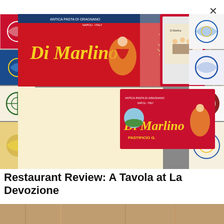[Figure (photo): Colorful Di Marlino pasta boxes (Antica Pasta di Gragnano) arranged on decorative Italian ceramic tiles background, with dry spaghetti fanning out from a special edition box]
Restaurant Review: A Tavola at La Devozione
[Figure (photo): Partial view of a second restaurant photo at bottom of page, warm tones]